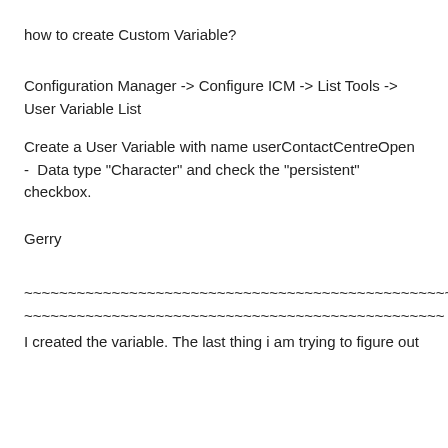how to create Custom Variable?
Configuration Manager -> Configure ICM -> List Tools -> User Variable List
Create a User Variable with name userContactCentreOpen -  Data type "Character" and check the "persistent" checkbox.
Gerry
~~~~~~~~~~~~~~~~~~~~~~~~~~~~~~~~~~~~~~~~~~~~~~~~~~~~~~~~~~~~~~~~
I created the variable. The last thing i am trying to figure out